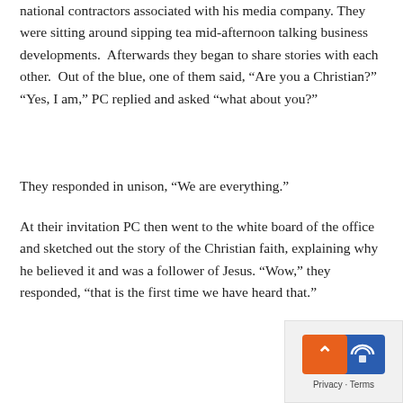national contractors associated with his media company. They were sitting around sipping tea mid-afternoon talking business developments.  Afterwards they began to share stories with each other.  Out of the blue, one of them said, “Are you a Christian?” “Yes, I am,” PC replied and asked “what about you?”
They responded in unison, “We are everything.”
At their invitation PC then went to the white board of the office and sketched out the story of the Christian faith, explaining why he believed it and was a follower of Jesus. “Wow,” they responded, “that is the first time we have heard that.”
[Figure (other): Privacy and Terms reCAPTCHA badge with orange and blue icons and an up-arrow, with 'Privacy · Terms' text.]